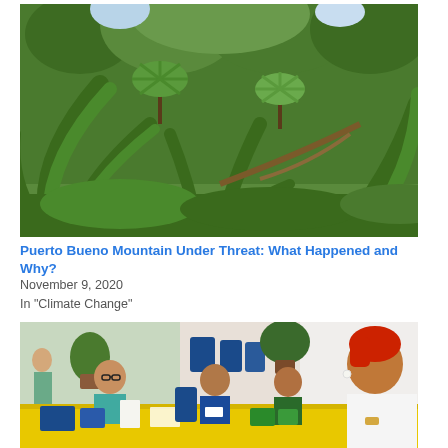[Figure (photo): Lush tropical forest scene with large green plants including agave-like leaves and umbrella-shaped trees]
Puerto Bueno Mountain Under Threat: What Happened and Why?
November 9, 2020
In "Climate Change"
[Figure (photo): Group of African women seated around a yellow table at an indoor event, with blue bags and papers, plants in background]